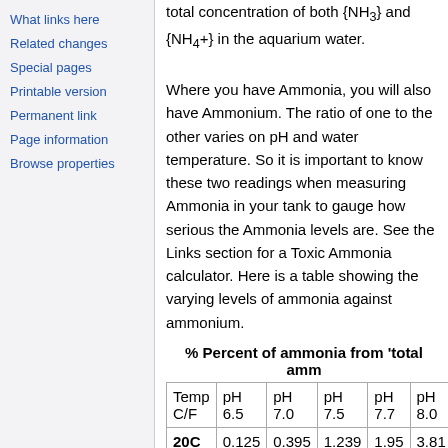What links here
Related changes
Special pages
Printable version
Permanent link
Page information
Browse properties
total concentration of both {NH3} and {NH4+} in the aquarium water. Where you have Ammonia, you will also have Ammonium. The ratio of one to the other varies on pH and water temperature. So it is important to know these two readings when measuring Ammonia in your tank to gauge how serious the Ammonia levels are. See the Links section for a Toxic Ammonia calculator. Here is a table showing the varying levels of ammonia against ammonium.
% Percent of ammonia from 'total amm
| Temp C/F | pH 6.5 | pH 7.0 | pH 7.5 | pH 7.7 | pH 8.0 |
| --- | --- | --- | --- | --- | --- |
| 20C (68F) | 0.125 | 0.395 | 1.239 | 1.95 | 3.81 |
| 25C |  |  |  |  |  |